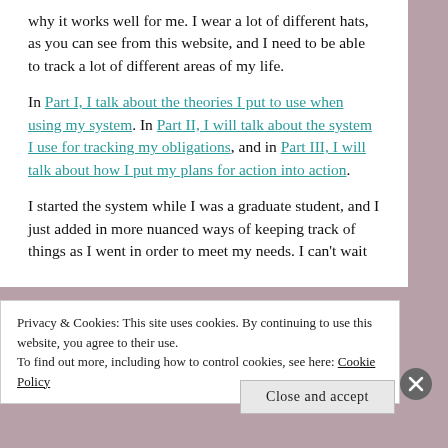why it works well for me. I wear a lot of different hats, as you can see from this website, and I need to be able to track a lot of different areas of my life.
In Part I, I talk about the theories I put to use when using my system. In Part II, I will talk about the system I use for tracking my obligations, and in Part III, I will talk about how I put my plans for action into action.
I started the system while I was a graduate student, and I just added in more nuanced ways of keeping track of things as I went in order to meet my needs. I can't wait
Privacy & Cookies: This site uses cookies. By continuing to use this website, you agree to their use.
To find out more, including how to control cookies, see here: Cookie Policy
Close and accept